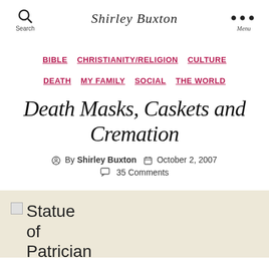Shirley Buxton
BIBLE
CHRISTIANITY/RELIGION
CULTURE
DEATH
MY FAMILY
SOCIAL
THE WORLD
Death Masks, Caskets and Cremation
By Shirley Buxton  October 2, 2007  35 Comments
[Figure (photo): Statue of Patrician (broken image placeholder)]